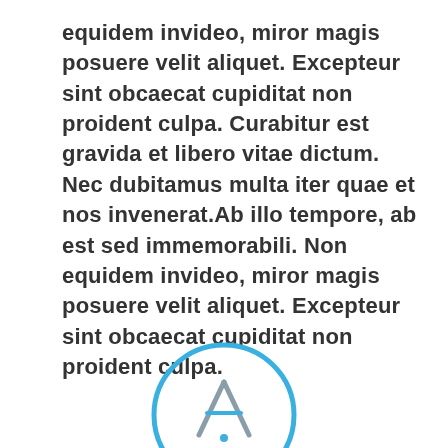equidem invideo, miror magis posuere velit aliquet. Excepteur sint obcaecat cupiditat non proident culpa. Curabitur est gravida et libero vitae dictum. Nec dubitamus multa iter quae et nos invenerat.Ab illo tempore, ab est sed immemorabili. Non equidem invideo, miror magis posuere velit aliquet. Excepteur sint obcaecat cupiditat non proident culpa.
[Figure (logo): Partial circular logo with a blue outline circle and a gray/teal letter A shape inside, partially cropped at the bottom of the page.]